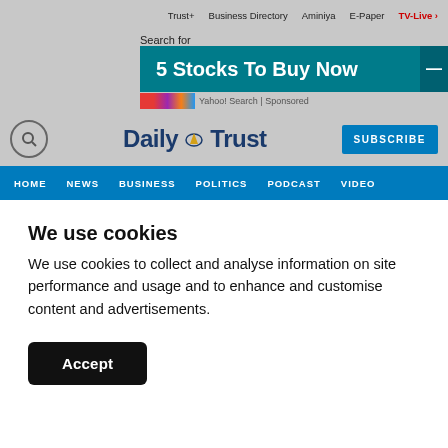Trust+  Business Directory  Aminiya  E-Paper  TV-Live
Search for
[Figure (screenshot): Ad banner: '5 Stocks To Buy Now' on teal background, Yahoo! Search | Sponsored]
Daily Trust  SUBSCRIBE
HOME  NEWS  BUSINESS  POLITICS  PODCAST  VIDEO
We use cookies
We use cookies to collect and analyse information on site performance and usage and to enhance and customise content and advertisements.
Accept